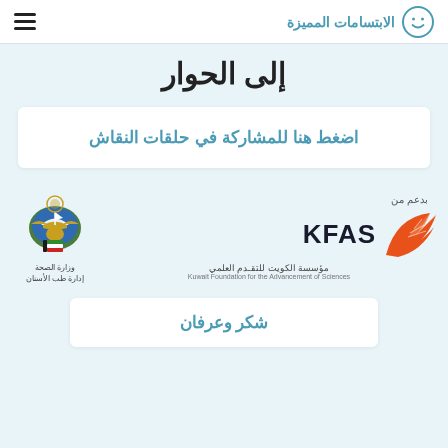الابتسامات المميزة
إلى الحوار
اضغط هنا للمشاركة في حلقات النقاش
[Figure (logo): KFAS logo with Arabic text مؤسسة الكويت للتقدم العلمي and English text Kuwait Foundation for the Advancement of Sciences, supported by label بدعم من, alongside Kuwait Ministry of Health dental department logo]
شكر وعرفان